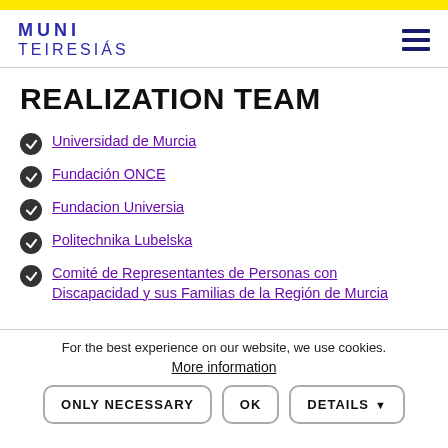MUNI TEIRESIÁS
REALIZATION TEAM
Universidad de Murcia
Fundación ONCE
Fundacion Universia
Politechnika Lubelska
Comité de Representantes de Personas con Discapacidad y sus Familias de la Región de Murcia
For the best experience on our website, we use cookies.
More information
ONLY NECESSARY   OK   DETAILS ▼